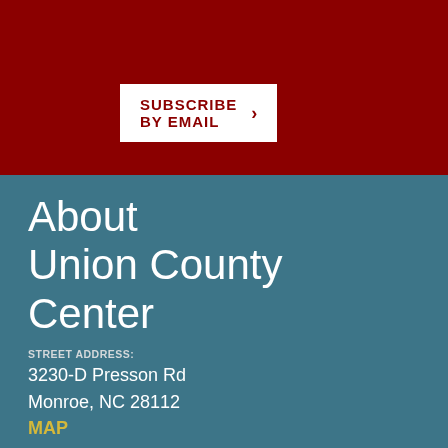SUBSCRIBE BY EMAIL >
About Union County Center
STREET ADDRESS:
3230-D Presson Rd
Monroe, NC 28112
MAP
OFFICE HOURS:
MON-FRI 8A-5P
(704) 283-3801